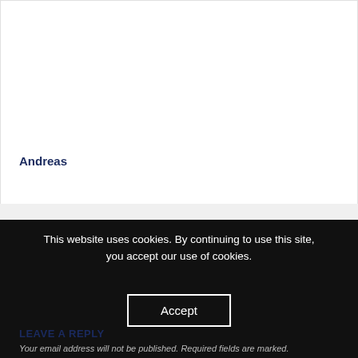Andreas
This website uses cookies. By continuing to use this site, you accept our use of cookies.
Accept
LEAVE A REPLY
Your email address will not be published. Required fields are marked.